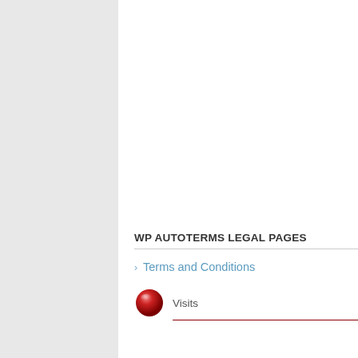WP AUTOTERMS LEGAL PAGES
Terms and Conditions
Visits  13 923